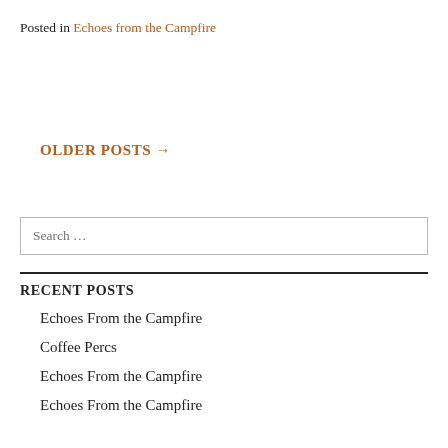Posted in Echoes from the Campfire
OLDER POSTS →
Search …
RECENT POSTS
Echoes From the Campfire
Coffee Percs
Echoes From the Campfire
Echoes From the Campfire